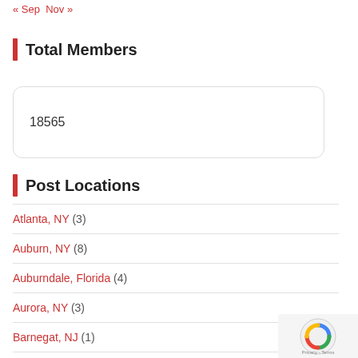« Sep  Nov »
Total Members
18565
Post Locations
Atlanta, NY (3)
Auburn, NY (8)
Auburndale, Florida (4)
Aurora, NY (3)
Barnegat, NJ (1)
Canandaigua, NY (109)